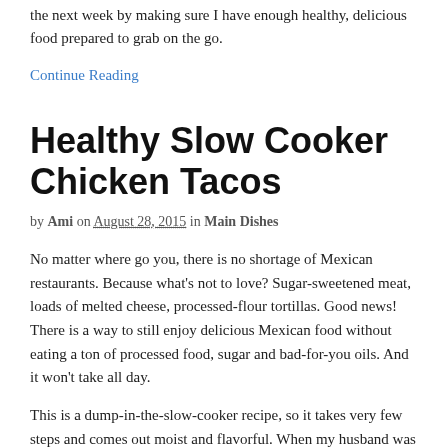the next week by making sure I have enough healthy, delicious food prepared to grab on the go.
Continue Reading
Healthy Slow Cooker Chicken Tacos
by Ami on August 28, 2015 in Main Dishes
No matter where go you, there is no shortage of Mexican restaurants. Because what's not to love? Sugar-sweetened meat, loads of melted cheese, processed-flour tortillas. Good news! There is a way to still enjoy delicious Mexican food without eating a ton of processed food, sugar and bad-for-you oils. And it won't take all day.
This is a dump-in-the-slow-cooker recipe, so it takes very few steps and comes out moist and flavorful. When my husband was eating this he kept saying, “There’s just something about